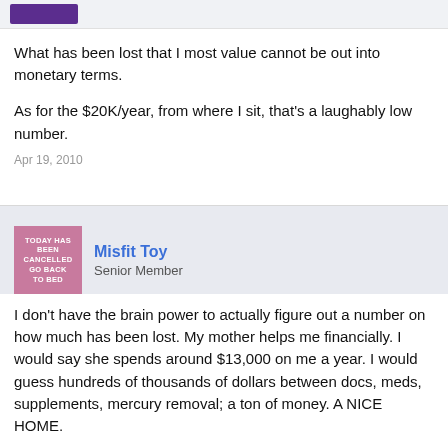What has been lost that I most value cannot be out into monetary terms.
As for the $20K/year, from where I sit, that's a laughably low number.
Apr 19, 2010
Misfit Toy
Senior Member
I don't have the brain power to actually figure out a number on how much has been lost. My mother helps me financially. I would say she spends around $13,000 on me a year. I would guess hundreds of thousands of dollars between docs, meds, supplements, mercury removal; a ton of money. A NICE HOME.
She helps me on top of me having SSD and still working part